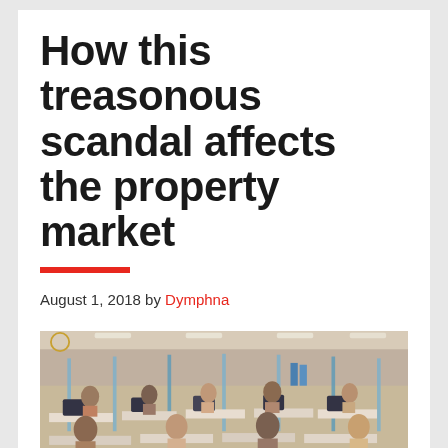How this treasonous scandal affects the property market
August 1, 2018 by Dymphna
[Figure (photo): Large open-plan office with many workers sitting at cubicle desks with computers, viewed from an elevated angle]